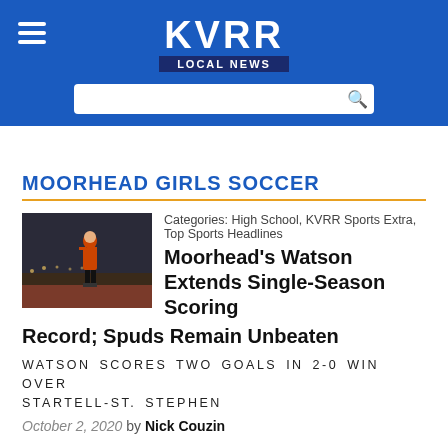KVRR LOCAL NEWS
MOORHEAD GIRLS SOCCER
[Figure (photo): A soccer player in a dark uniform on a field at night]
Categories: High School, KVRR Sports Extra, Top Sports Headlines
Moorhead's Watson Extends Single-Season Scoring Record; Spuds Remain Unbeaten
WATSON SCORES TWO GOALS IN 2-0 WIN OVER STARTELL-ST. STEPHEN
October 2, 2020 by Nick Couzin